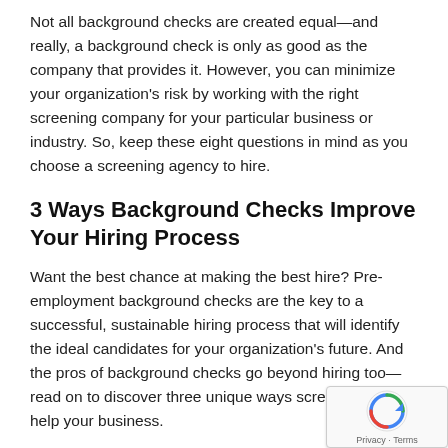Not all background checks are created equal—and really, a background check is only as good as the company that provides it. However, you can minimize your organization's risk by working with the right screening company for your particular business or industry. So, keep these eight questions in mind as you choose a screening agency to hire.
3 Ways Background Checks Improve Your Hiring Process
Want the best chance at making the best hire? Pre-employment background checks are the key to a successful, sustainable hiring process that will identify the ideal candidates for your organization's future. And the pros of background checks go beyond hiring too—read on to discover three unique ways screenings could help your business.